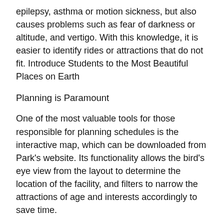epilepsy, asthma or motion sickness, but also causes problems such as fear of darkness or altitude, and vertigo. With this knowledge, it is easier to identify rides or attractions that do not fit. Introduce Students to the Most Beautiful Places on Earth
Planning is Paramount
One of the most valuable tools for those responsible for planning schedules is the interactive map, which can be downloaded from Park's website. Its functionality allows the bird's eye view from the layout to determine the location of the facility, and filters to narrow the attractions of age and interests accordingly to save time.
Know the layout
Understanding the basic thematic layout of the Park is very important. Each of the five areas has unique